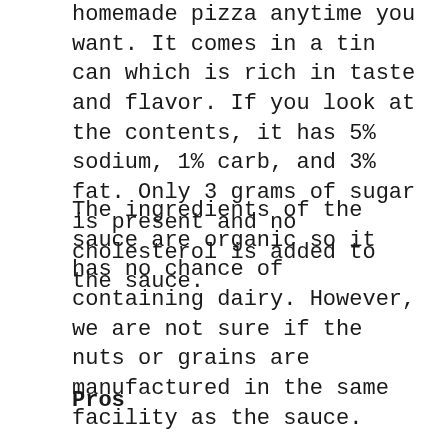homemade pizza anytime you want. It comes in a tin can which is rich in taste and flavor. If you look at the contents, it has 5% sodium, 1% carb, and 3% fat. Only 3 grams of sugar is present and no cholesterol is added to the sauce.
The ingredients of the sauce are organic so it has no chance of containing dairy. However, we are not sure if the nuts or grains are manufactured in the same facility as the sauce.
Pros